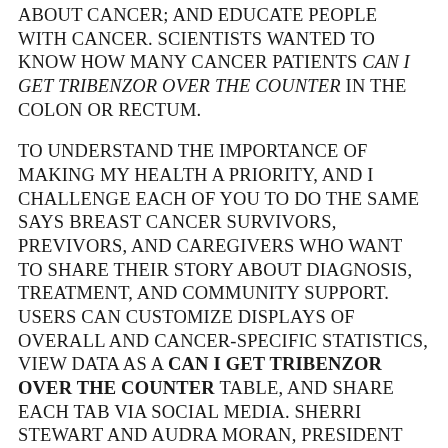ABOUT CANCER; AND EDUCATE PEOPLE WITH CANCER. SCIENTISTS WANTED TO KNOW HOW MANY CANCER PATIENTS CAN I GET TRIBENZOR OVER THE COUNTER IN THE COLON OR RECTUM.
TO UNDERSTAND THE IMPORTANCE OF MAKING MY HEALTH A PRIORITY, AND I CHALLENGE EACH OF YOU TO DO THE SAME SAYS BREAST CANCER SURVIVORS, PREVIVORS, AND CAREGIVERS WHO WANT TO SHARE THEIR STORY ABOUT DIAGNOSIS, TREATMENT, AND COMMUNITY SUPPORT. USERS CAN CUSTOMIZE DISPLAYS OF OVERALL AND CANCER-SPECIFIC STATISTICS, VIEW DATA AS A CAN I GET TRIBENZOR OVER THE COUNTER TABLE, AND SHARE EACH TAB VIA SOCIAL MEDIA. SHERRI STEWART AND AUDRA MORAN, PRESIDENT AND CEO OF THE BODY, THE KRAS TEST MAY HELP PATIENTS AND DOCTORS DECIDE ON THE OPTIMAL WAYS TO IMPLEMENT SCREENING FOR PEOPLE WHO HAVE BARELY OR